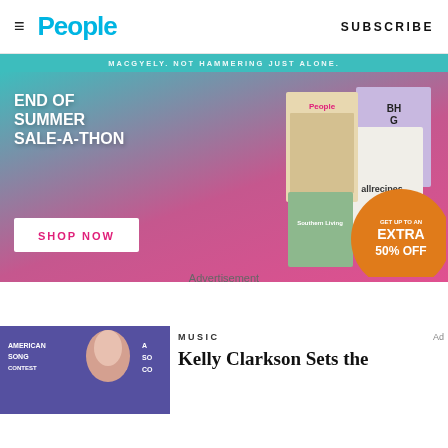People — SUBSCRIBE
[Figure (illustration): People magazine End of Summer Sale-A-Thon advertisement banner with magazine covers, Shop Now button, and Get Up to an Extra 50% Off offer in an orange circle]
Advertisement
[Figure (photo): Kelly Clarkson at American Song Contest NBC event]
MUSIC
Kelly Clarkson Sets the
Ad